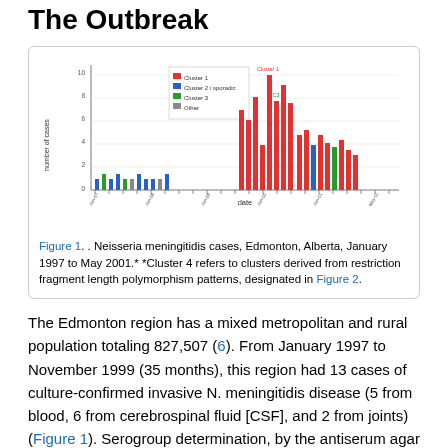The Outbreak
[Figure (bar-chart): Grouped bar chart showing Neisseria meningitidis cases over time from January 1997 to May 2001, with bars colored by cluster group (red, blue, green, other).]
Figure 1. . Neisseria meningitidis cases, Edmonton, Alberta, January 1997 to May 2001.* *Cluster 4 refers to clusters derived from restriction fragment length polymorphism patterns, designated in Figure 2.
The Edmonton region has a mixed metropolitan and rural population totaling 827,507 (6). From January 1997 to November 1999 (35 months), this region had 13 cases of culture-confirmed invasive N. meningitidis disease (5 from blood, 6 from cerebrospinal fluid [CSF], and 2 from joints) (Figure 1). Serogroup determination, by the antiserum agar method previously described, showed that these